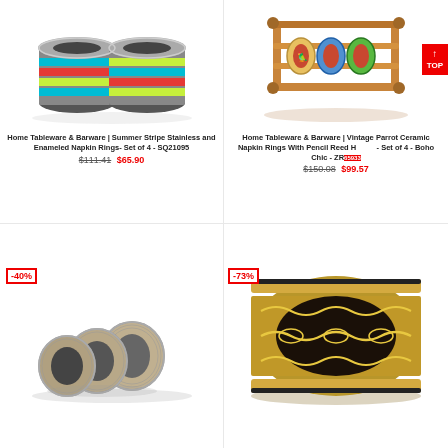[Figure (photo): Colorful stainless steel and enameled napkin rings in summer stripe colors (blue, red, yellow-green) stacked together]
Home Tableware & Barware | Summer Stripe Stainless and Enameled Napkin Rings- Set of 4 - SQ21095
$111.41  $65.90
[Figure (photo): Vintage parrot ceramic napkin rings with pencil reed holder, set of 4, Boho Chic style]
Home Tableware & Barware | Vintage Parrot Ceramic Napkin Rings With Pencil Reed Holder - Set of 4 - Boho Chic - ZR65933
$150.08  $99.57
-40%
[Figure (photo): Set of antique silver-plated engraved napkin rings, multiple pieces shown]
-73%
[Figure (photo): Large brass napkin ring with embossed floral scroll decoration]